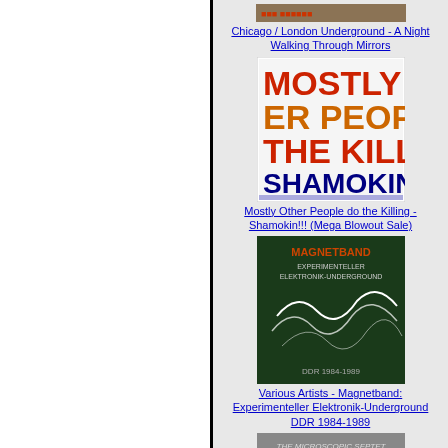[Figure (photo): Album cover partially visible at top - Chicago / London Underground]
Chicago / London Underground - A Night Walking Through Mirrors
[Figure (photo): Album cover - Mostly Other People Do The Killing - Shamokin!!! colorful text design]
Mostly Other People do the Killing - Shamokin!!! (Mega Blowout Sale)
[Figure (photo): Album cover - Magnetband: Experimenteller Elektronik-Underground DDR 1984-1989, dark green with white lines]
Various Artists - Magnetband: Experimenteller Elektronik-Underground DDR 1984-1989
[Figure (photo): Album cover - Microscopic Septet - Lobster Leaps In, black and white photo]
Microscopic Septet - Lobster Leaps In
[Figure (photo): Album cover partially visible at bottom, cream/beige colored with text]